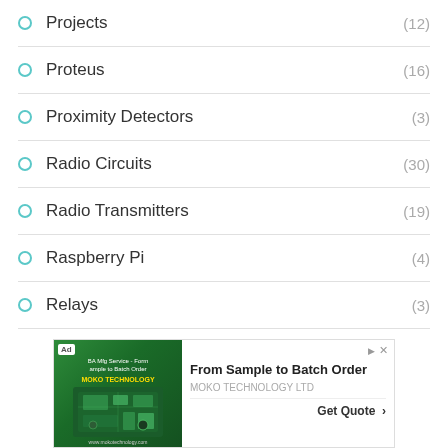Projects (12)
Proteus (16)
Proximity Detectors (3)
Radio Circuits (30)
Radio Transmitters (19)
Raspberry Pi (4)
Relays (3)
[Figure (infographic): Advertisement banner for MOKO TECHNOLOGY LTD showing a PCB board image on the left with green background, text 'From Sample to Batch Order' and 'MOKO TECHNOLOGY LTD' on the right, with a 'Get Quote >' button at the bottom right.]